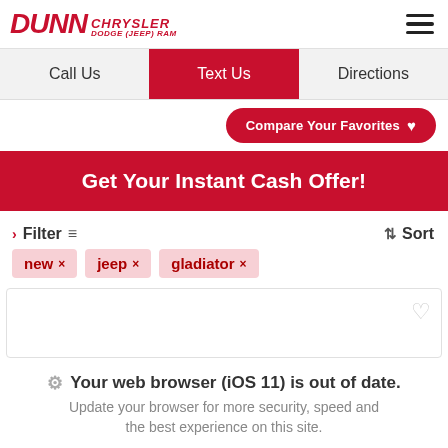[Figure (logo): Dunn Chrysler Dodge Jeep Ram logo in red italic text]
Call Us | Text Us | Directions
Compare Your Favorites ♥
Get Your Instant Cash Offer!
› Filter  ⇅ Sort
new ×
jeep ×
gladiator ×
Your web browser (iOS 11) is out of date. Update your browser for more security, speed and the best experience on this site.